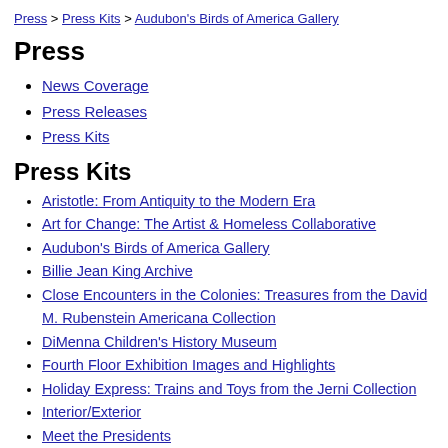Press > Press Kits > Audubon's Birds of America Gallery
Press
News Coverage
Press Releases
Press Kits
Press Kits
Aristotle: From Antiquity to the Modern Era
Art for Change: The Artist & Homeless Collaborative
Audubon's Birds of America Gallery
Billie Jean King Archive
Close Encounters in the Colonies: Treasures from the David M. Rubenstein Americana Collection
DiMenna Children's History Museum
Fourth Floor Exhibition Images and Highlights
Holiday Express: Trains and Toys from the Jerni Collection
Interior/Exterior
Meet the Presidents
Monuments: Commemoration and Controversy
New-York Historical Society Opens Transformed Fourth